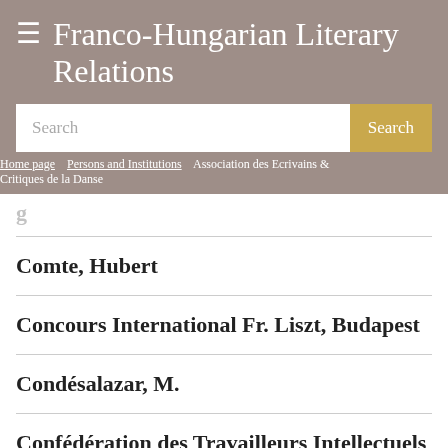≡ Franco-Hungarian Literary Relations
Search
Search [button]
Home page | Persons and Institutions | Association des Ecrivains & Critiques de la Danse
Comte, Hubert
Concours International Fr. Liszt, Budapest
Condésalazar, M.
Confédération des Travailleurs Intellectuels